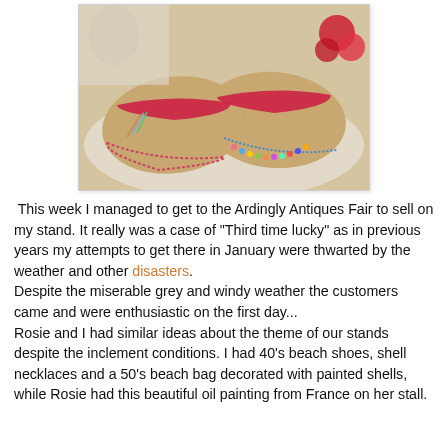[Figure (photo): Close-up photograph of two woven straw/raffia shoes/espadrilles with red bands across the top and colorful beaded/stitched trim around the soles. Red flowers visible in background on the right.]
This week I managed to get to the Ardingly Antiques Fair to sell on my stand. It really was a case of "Third time lucky" as in previous years my attempts to get there in January were thwarted by the weather and other disasters. Despite the miserable grey and windy weather the customers came and were enthusiastic on the first day... Rosie and I had similar ideas about the theme of our stands despite the inclement conditions. I had 40's beach shoes, shell necklaces and a 50's beach bag decorated with painted shells, while Rosie had this beautiful oil painting from France on her stall.